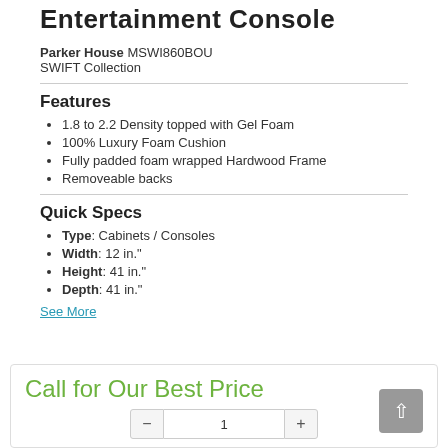Entertainment Console
Parker House MSWI860BOU
SWIFT Collection
Features
1.8 to 2.2 Density topped with Gel Foam
100% Luxury Foam Cushion
Fully padded foam wrapped Hardwood Frame
Removeable backs
Quick Specs
Type: Cabinets / Consoles
Width: 12 in."
Height: 41 in."
Depth: 41 in."
See More
Call for Our Best Price